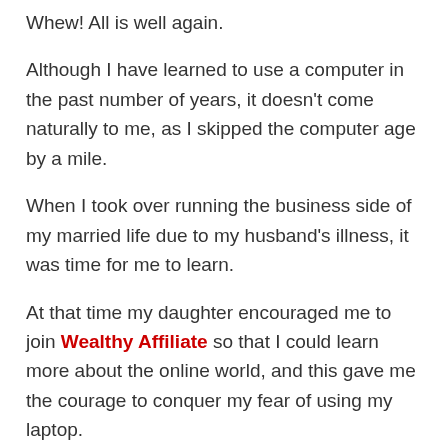Whew! All is well again.
Although I have learned to use a computer in the past number of years, it doesn't come naturally to me, as I skipped the computer age by a mile.
When I took over running the business side of my married life due to my husband's illness, it was time for me to learn.
At that time my daughter encouraged me to join Wealthy Affiliate so that I could learn more about the online world, and this gave me the courage to conquer my fear of using my laptop.
The training I have received and am still receiving has enabled me to blog, not only about the things dear to me but also for business. I am now able to earn while I